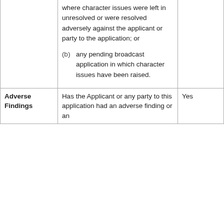|  |  |  |
| --- | --- | --- |
|  | where character issues were left in unresolved or were resolved adversely against the applicant or party to the application; or
(b) any pending broadcast application in which character issues have been raised. |  |
| Adverse Findings | Has the Applicant or any party to this application had an adverse finding or an | Yes |